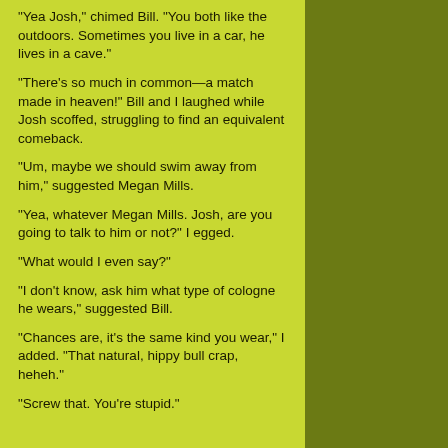“Yea Josh,” chimed Bill. “You both like the outdoors. Sometimes you live in a car, he lives in a cave.”
“There’s so much in common—a match made in heaven!”  Bill and I laughed while Josh scoffed, struggling to find an equivalent comeback.
“Um, maybe we should swim away from him,” suggested Megan Mills.
“Yea, whatever Megan Mills.  Josh, are you going to talk to him or not?” I egged.
“What would I even say?”
“I don’t know, ask him what type of cologne he wears,” suggested Bill.
“Chances are, it’s the same kind you wear,” I added.  “That natural, hippy bull crap, heheh.”
“Screw that. You’re stupid.”